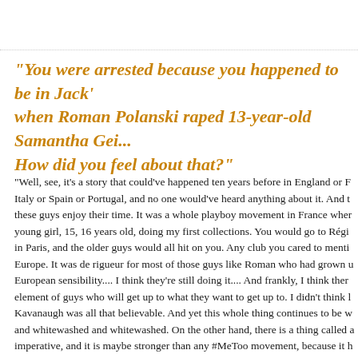"You were arrested because you happened to be in Jack's when Roman Polanski raped 13-year-old Samantha Gei... How did you feel about that?"
"Well, see, it's a story that could've happened ten years before in England or France Italy or Spain or Portugal, and no one would've heard anything about it. And these guys enjoy their time. It was a whole playboy movement in France where young girl, 15, 16 years old, doing my first collections. You would go to Régin... in Paris, and the older guys would all hit on you. Any club you cared to mentio... Europe. It was de rigueur for most of those guys like Roman who had grown u... European sensibility.... I think they're still doing it.... And frankly, I think ther... element of guys who will get up to what they want to get up to. I didn't think Kavanaugh was all that believable. And yet this whole thing continues to be w... and whitewashed and whitewashed. On the other hand, there is a thing called a... imperative, and it is maybe stronger than any #MeToo movement, because it h... birth. I have a great 3-year-old nephew who made his way over to my umbrell... other day and pulled an Irish walking stick out and said, 'I am the leader of the..."